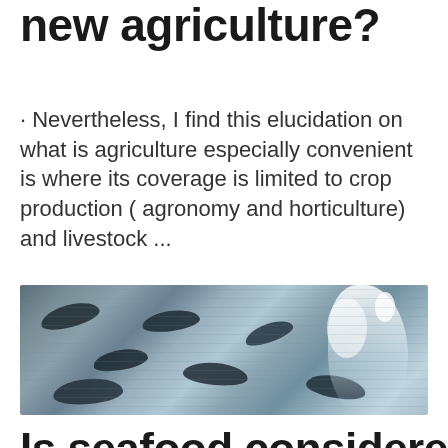new agriculture?
· Nevertheless, I find this elucidation on what is agriculture especially convenient is where its coverage is limited to crop production ( agronomy and horticulture) and livestock ...
[Figure (photo): Photograph of fish in shallow churning water, with splashing white water visible, showing multiple dark fish shapes swimming in turbulent water.]
Is seafood considered